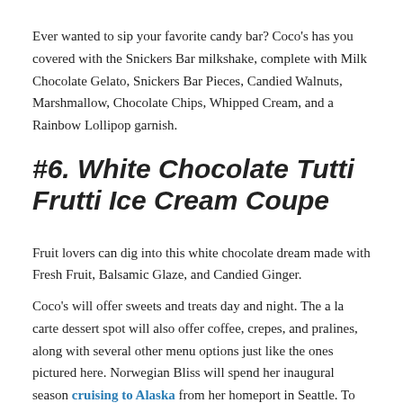Ever wanted to sip your favorite candy bar? Coco's has you covered with the Snickers Bar milkshake, complete with Milk Chocolate Gelato, Snickers Bar Pieces, Candied Walnuts, Marshmallow, Chocolate Chips, Whipped Cream, and a Rainbow Lollipop garnish.
#6. White Chocolate Tutti Frutti Ice Cream Coupe
Fruit lovers can dig into this white chocolate dream made with Fresh Fruit, Balsamic Glaze, and Candied Ginger.
Coco's will offer sweets and treats day and night. The a la carte dessert spot will also offer coffee, crepes, and pralines, along with several other menu options just like the ones pictured here. Norwegian Bliss will spend her inaugural season cruising to Alaska from her homeport in Seattle. To learn more, visit BLISS.NCL.com.
Header image: Our featured photo shows Coco's Celebration Platter, which includes gelato, ice cream, fruit, candy, and sauce. This dessert